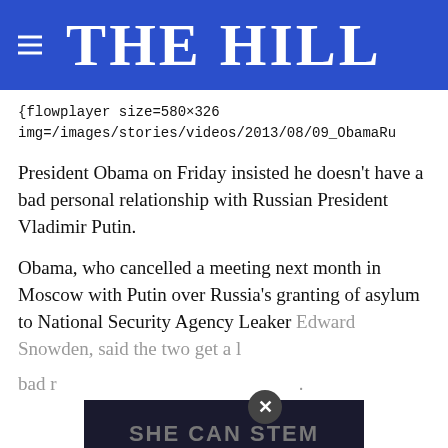THE HILL
{flowplayer size=580×326 img=/images/stories/videos/2013/08/09_ObamaRu
President Obama on Friday insisted he doesn't have a bad personal relationship with Russian President Vladimir Putin.
Obama, who cancelled a meeting next month in Moscow with Putin over Russia's granting of asylum to National Security Agency Leaker Edward Snowden, said the two get a long but bad r...
[Figure (screenshot): Ad overlay banner reading SHE CAN STEM with a close button (×)]